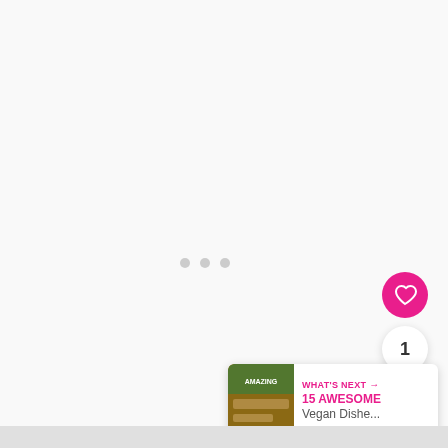[Figure (screenshot): Mostly blank white/light gray page area representing a loading or empty content state with three carousel indicator dots near center]
[Figure (infographic): Pink circular heart/like button (favoriting UI element)]
1
[Figure (infographic): White circular share button with share icon]
[Figure (screenshot): What's Next promotional banner with thumbnail image, label 'WHAT'S NEXT →', bold pink title '15 AWESOME' and subtitle text 'Vegan Dishe...']